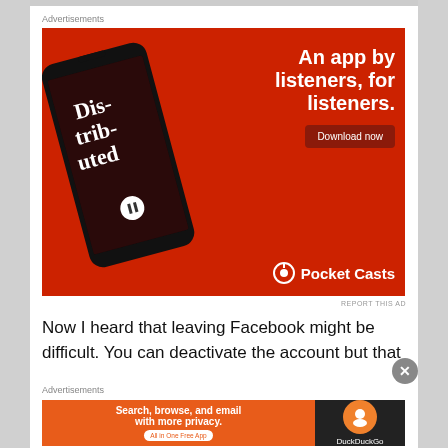Advertisements
[Figure (screenshot): Pocket Casts advertisement on red background. Shows a smartphone with a podcast app (Distributed podcast episode). Text reads: 'An app by listeners, for listeners.' with a 'Download now' button and Pocket Casts logo at bottom right.]
REPORT THIS AD
Now I heard that leaving Facebook might be difficult. You can deactivate the account but that
Advertisements
[Figure (screenshot): DuckDuckGo advertisement. Left orange section reads: 'Search, browse, and email with more privacy. All in One Free App'. Right dark section shows DuckDuckGo logo.]